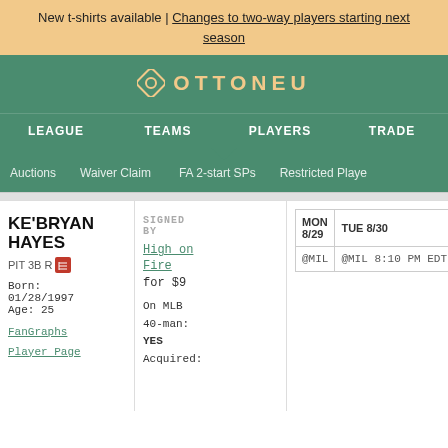New t-shirts available | Changes to two-way players starting next season
[Figure (logo): Ottoneu logo with diamond icon and text OTTONEU]
LEAGUE   TEAMS   PLAYERS   TRADE
Auctions   Waiver Claim   FA 2-start SPs   Restricted Players
KE'BRYAN HAYES
PIT 3B R
Born: 01/28/1997
Age: 25
FanGraphs Player Page
SIGNED BY
High on Fire for $9
On MLB 40-man: YES
Acquired: Drafted
| MON 8/29 | TUE 8/30 | WED 8/31 |
| --- | --- | --- |
| @MIL | @MIL 8:10 PM EDT | @MIL 2:10 PM EDT |